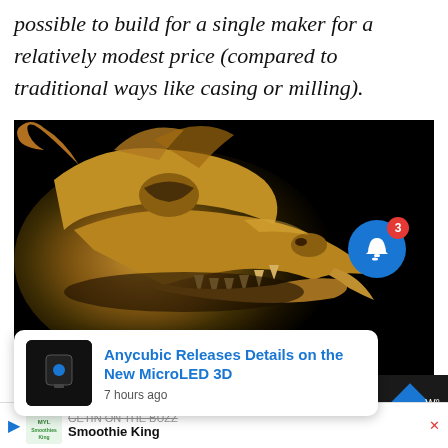possible to build for a single maker for a relatively modest price (compared to traditional ways like casing or milling).
[Figure (photo): Close-up photo of a gold/bronze colored 3D printed dragon head sculpture against a black background. The dragon has open jaws showing teeth, and detailed textured surface. A blue notification bell button with red badge showing '3' is overlaid in the upper right of the image. An 'X' label appears near lower center.]
Anycubic Releases Details on the New MicroLED 3D
7 hours ago
Smoothie King